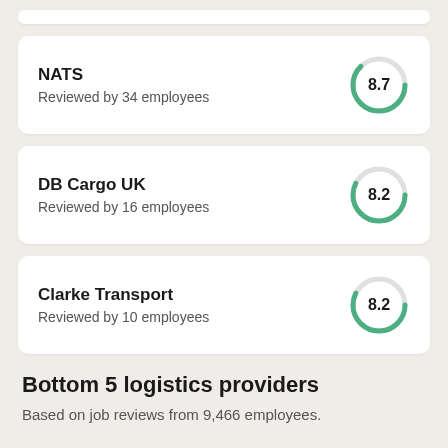NATS – Reviewed by 34 employees – Score: 8.7
DB Cargo UK – Reviewed by 16 employees – Score: 8.2
Clarke Transport – Reviewed by 10 employees – Score: 8.2
Bottom 5 logistics providers
Based on job reviews from 9,466 employees.